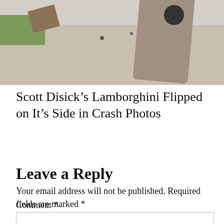[Figure (photo): Photo of a car (Lamborghini) flipped on its side on a road, with debris scattered around and grass visible on the left]
Scott Disick’s Lamborghini Flipped on It’s Side in Crash Photos
Leave a Reply
Your email address will not be published. Required fields are marked *
Comment *